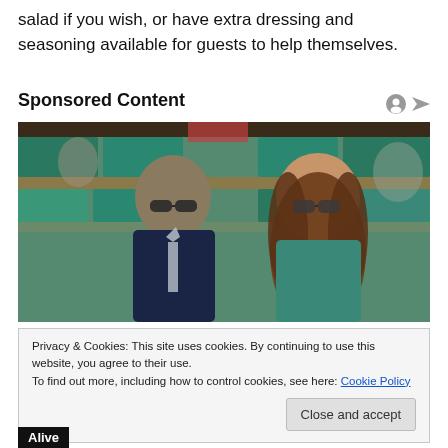salad if you wish, or have extra dressing and seasoning available for guests to help themselves.
Sponsored Content
[Figure (photo): Two people wearing sunglasses sitting in stadium seats. A man in a dark suit with light tie on the left, and a woman with long brown hair in a teal top on the right.]
Privacy & Cookies: This site uses cookies. By continuing to use this website, you agree to their use.
To find out more, including how to control cookies, see here: Cookie Policy
Close and accept
Alive